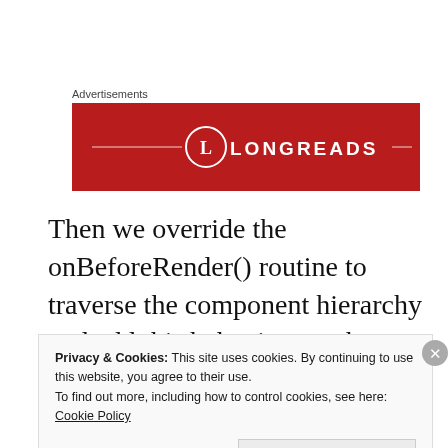Advertisements
[Figure (logo): Longreads advertisement banner — red background with white circle containing the letter L and the text LONGREADS in white capital letters, flanked by white horizontal lines]
Then we override the onBeforeRender() routine to traverse the component hierarchy and add this behaviour to the appropriate elements. Note that I haven't shown how you get the current absolute request URL, as in my system this is proprietary. There's plenty
Privacy & Cookies: This site uses cookies. By continuing to use this website, you agree to their use.
To find out more, including how to control cookies, see here: Cookie Policy
Close and accept